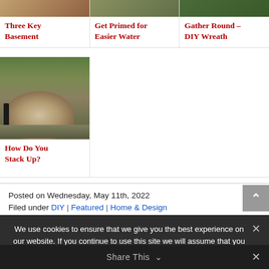[Figure (photo): Three thumbnail images in a row: boxes/cardboard, greens/produce, wreath/greenery]
Three Key Basement
Get Primed for Easier Water
Gather Round – DIY Wreath
[Figure (photo): Person stacking a large round woodpile of firewood outdoors]
How Do You Stack Up?
Posted on Wednesday, May 11th, 2022
Filed under DIY | Featured | Home & Design
We use cookies to ensure that we give you the best experience on our website. If you continue to use this site we will assume that you are happy with it.
Share This